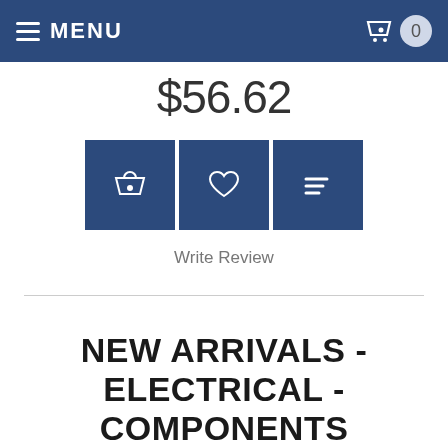MENU | cart: 0
$56.62
[Figure (infographic): Three dark blue action buttons: basket/add-to-cart icon, heart/wishlist icon, and list/compare icon]
Write Review
Displaying 1 to 10 (of 74 products)
Pagination: 1 2 3 4 5 ... >
NEW ARRIVALS - ELECTRICAL - COMPONENTS